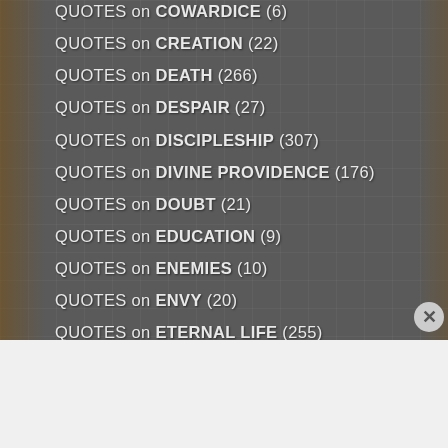QUOTES on COWARDICE (6)
QUOTES on CREATION (22)
QUOTES on DEATH (266)
QUOTES on DESPAIR (27)
QUOTES on DISCIPLESHIP (307)
QUOTES on DIVINE PROVIDENCE (176)
QUOTES on DOUBT (21)
QUOTES on EDUCATION (9)
QUOTES on ENEMIES (10)
QUOTES on ENVY (20)
QUOTES on ETERNAL LIFE (255)
Advertisements
[Figure (screenshot): Bloomingdales advertisement banner with logo, tagline 'View Today's Top Deals!', a woman with a wide-brim hat, and a 'SHOP NOW >' button]